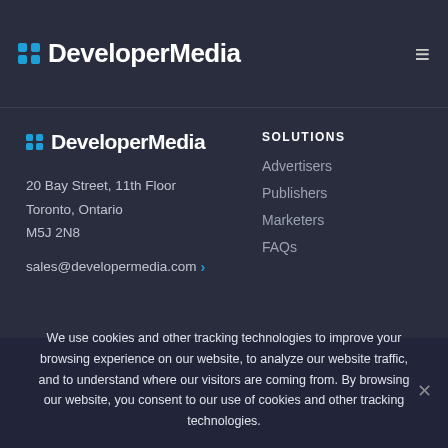DeveloperMedia
[Figure (logo): DeveloperMedia logo with blue dot grid icon and white bold text]
SOLUTIONS
20 Bay Street, 11th Floor
Toronto, Ontario
M5J 2N8
sales@developermedia.com >
Advertisers
Publishers
Marketers
FAQs
We use cookies and other tracking technologies to improve your browsing experience on our website, to analyze our website traffic, and to understand where our visitors are coming from. By browsing our website, you consent to our use of cookies and other tracking technologies.
Accept  Privacy policy